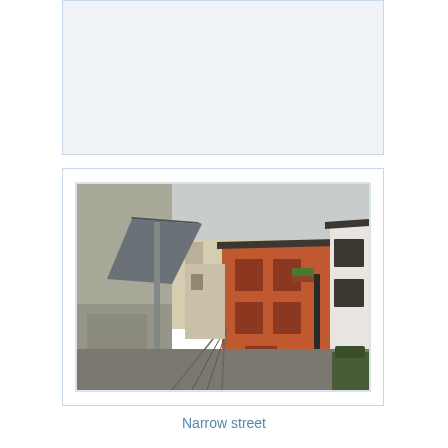[Figure (other): Empty light blue-grey placeholder box at top of page]
[Figure (photo): Photograph of a narrow European street or alley flanked by buildings. On the left is a grey/beige building wall with a metal downpipe. On the right side are terracotta-orange and white rendered buildings with dark window shutters. The cobblestone/paved street narrows into the distance with more buildings visible down the lane. Overcast sky visible above.]
Narrow street